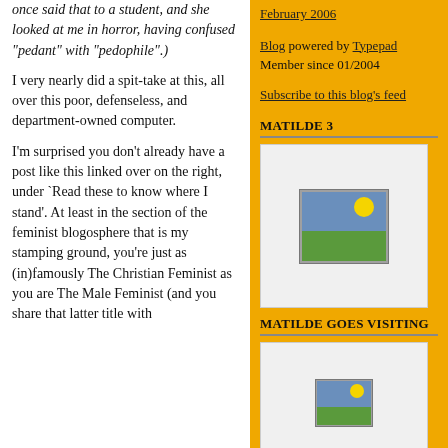once said that to a student, and she looked at me in horror, having confused "pedant" with "pedophile".)
I very nearly did a spit-take at this, all over this poor, defenseless, and department-owned computer.
I'm surprised you don't already have a post like this linked over on the right, under `Read these to know where I stand'. At least in the section of the feminist blogosphere that is my stamping ground, you're just as (in)famously The Christian Feminist as you are The Male Feminist (and you share that latter title with
February 2006
Blog powered by Typepad
Member since 01/2004
Subscribe to this blog's feed
MATILDE 3
[Figure (photo): Placeholder image icon showing a landscape with sun and hills in a gray frame, on white background]
MATILDE GOES VISITING
[Figure (photo): Smaller placeholder image icon showing a landscape with sun and hills, on white background]